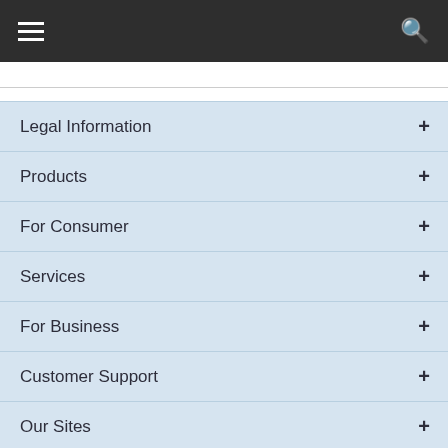Navigation menu with hamburger and search icons
Legal Information
Products
For Consumer
Services
For Business
Customer Support
Our Sites
Get the USLegal Newsletter